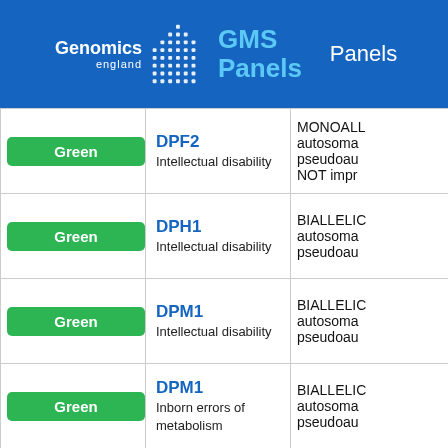Genomics England GMS Panels | Panels
|  | Gene / Panel | Panels |
| --- | --- | --- |
| Green | DPF2
Intellectual disability | MONOALL autosomal pseudoau NOT impr |
| Green | DPH1
Intellectual disability | BIALLELIC autosomal pseudoau |
| Green | DPM1
Intellectual disability | BIALLELIC autosomal pseudoau |
| Green | DPM1
Inborn errors of metabolism | BIALLELIC autosomal pseudoau |